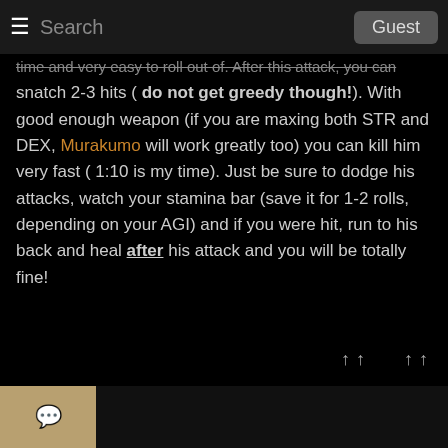≡ Search  Guest
time and very easy to roll out of. After this attack, you can snatch 2-3 hits ( do not get greedy though!). With good enough weapon (if you are maxing both STR and DEX, Murakumo will work greatly too) you can kill him very fast ( 1:10 is my time). Just be sure to dodge his attacks, watch your stamina bar (save it for 1-2 rolls, depending on your AGI) and if you were hit, run to his back and heal after his attack and you will be totally fine!